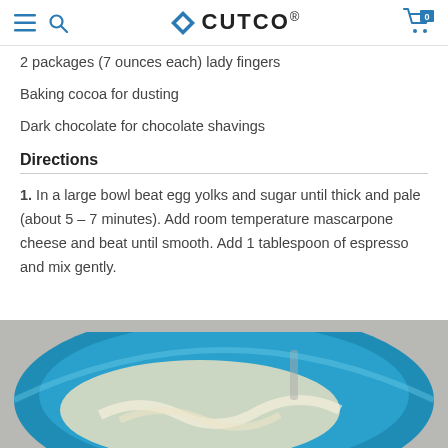CUTCO. (navigation bar with hamburger menu, search, logo, and cart with 0 items)
2 packages (7 ounces each) lady fingers
Baking cocoa for dusting
Dark chocolate for chocolate shavings
Directions
1. In a large bowl beat egg yolks and sugar until thick and pale (about 5 – 7 minutes). Add room temperature mascarpone cheese and beat until smooth. Add 1 tablespoon of espresso and mix gently.
[Figure (photo): A blue mixing bowl containing a pale yellow cream/mascarpone mixture being beaten, with a beater visible, on a light gray countertop.]